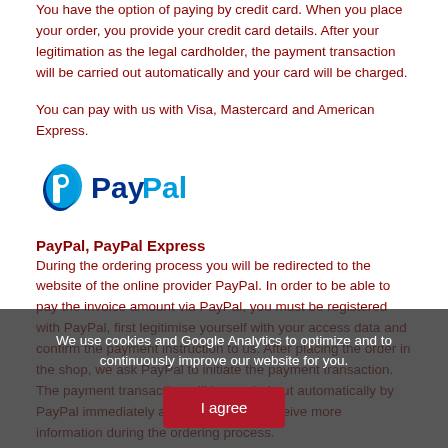You have the option of paying by credit card. When you place your order, you provide your credit card details. After your legitimation as the legal cardholder, the payment transaction will be carried out automatically and your card will be charged.
You can pay with us with Visa, Mastercard and American Express.
[Figure (logo): PayPal logo with blue P icon and PayPal wordmark in blue]
PayPal, PayPal Express
During the ordering process you will be redirected to the website of the online provider PayPal. In order to be able to pay the invoice amount via PayPal, you must be registered with PayPal, first legitimise yourself with your access data and confirm the payment instruction to us. After placing the order in the shop, we ask PayPal to initiate the payment transaction. The payment transaction will be carried out automatically by PayPal immediately afterwards. You'll receive more information during the ordering process.
We use cookies and Google Analytics to optimize and to continuously improve our website for you.